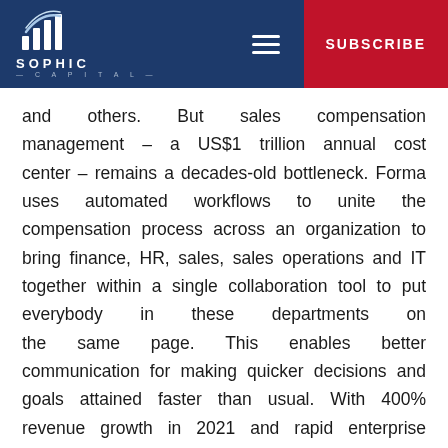[Figure (logo): Sophic Capital logo with stylized bar chart icon and company name]
and others. But sales compensation management – a US$1 trillion annual cost center – remains a decades-old bottleneck. Forma uses automated workflows to unite the compensation process across an organization to bring finance, HR, sales, sales operations and IT together within a single collaboration tool to put everybody in these departments on the same page. This enables better communication for making quicker decisions and goals attained faster than usual. With 400% revenue growth in 2021 and rapid enterprise adoption of its revolutionary SPM platform,